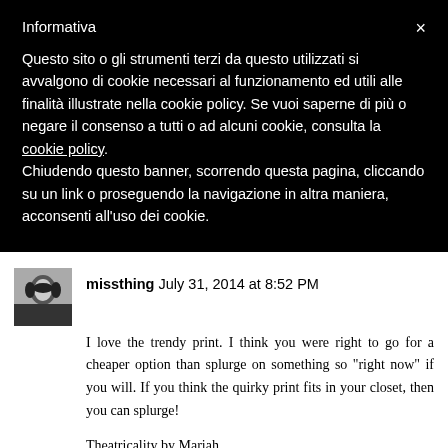Informativa
Questo sito o gli strumenti terzi da questo utilizzati si avvalgono di cookie necessari al funzionamento ed utili alle finalità illustrate nella cookie policy. Se vuoi saperne di più o negare il consenso a tutti o ad alcuni cookie, consulta la cookie policy. Chiudendo questo banner, scorrendo questa pagina, cliccando su un link o proseguendo la navigazione in altra maniera, acconsenti all'uso dei cookie.
[Figure (photo): Small avatar photo of a woman with dark hair]
missthing July 31, 2014 at 8:52 PM
I love the trendy print. I think you were right to go for a cheaper option than splurge on something so "right now" if you will. If you think the quirky print fits in your closet, then you can splurge!
Theatricality by Mariah
Reply